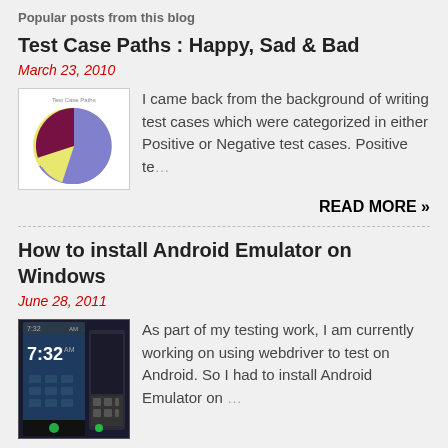Popular posts from this blog
Test Case Paths : Happy, Sad & Bad
March 23, 2010
[Figure (pie-chart): Pie chart with three slices: large blue/purple slice, medium yellow slice, small dark red/maroon slice]
I came back from the background of writing test cases which were categorized in either Positive or Negative test cases. Positive te…
READ MORE »
How to install Android Emulator on Windows
June 28, 2011
[Figure (screenshot): Screenshot of an Android emulator showing a phone lock screen with time 7:32]
As part of my testing work, I am currently working on using webdriver to test on Android. So I had to install Android Emulator on …